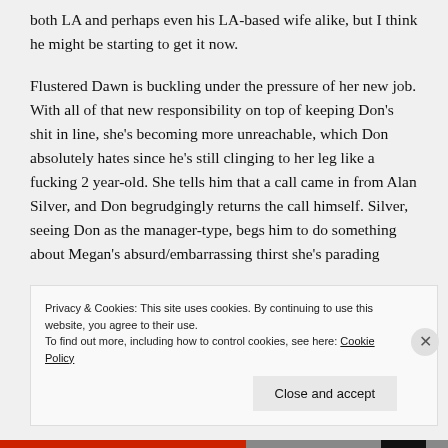both LA and perhaps even his LA-based wife alike, but I think he might be starting to get it now.
Flustered Dawn is buckling under the pressure of her new job. With all of that new responsibility on top of keeping Don's shit in line, she's becoming more unreachable, which Don absolutely hates since he's still clinging to her leg like a fucking 2 year-old. She tells him that a call came in from Alan Silver, and Don begrudgingly returns the call himself. Silver, seeing Don as the manager-type, begs him to do something about Megan's absurd/embarrassing thirst she's parading
Privacy & Cookies: This site uses cookies. By continuing to use this website, you agree to their use.
To find out more, including how to control cookies, see here: Cookie Policy
Close and accept